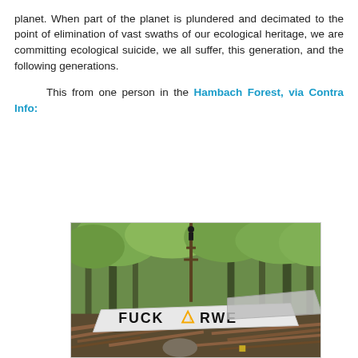planet. When part of the planet is plundered and decimated to the point of elimination of vast swaths of our ecological heritage, we are committing ecological suicide, we all suffer, this generation, and the following generations.

This from one person in the Hambach Forest, via Contra Info:
[Figure (photo): Photograph of a forest protest scene at Hambach Forest showing a barricade made of logs and branches with a large white banner reading 'FUCK RWE', with tall trees in the background and a person visible high up in the tree canopy]